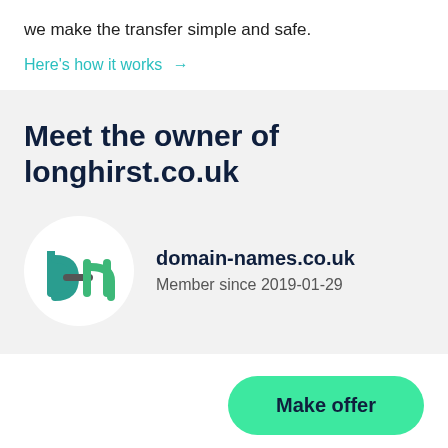we make the transfer simple and safe.
Here's how it works →
Meet the owner of longhirst.co.uk
[Figure (logo): domain-names.co.uk logo: stylized 'd' and 'n' letters in teal/green on white circle background]
domain-names.co.uk
Member since 2019-01-29
Make offer